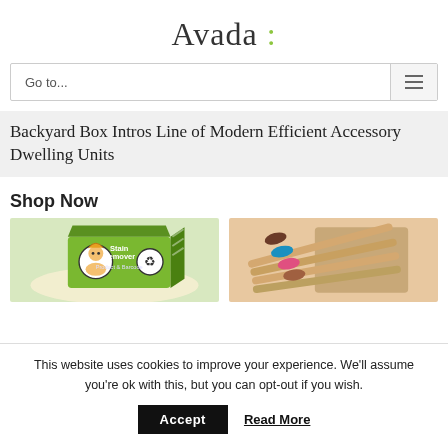Avada :
Go to...
Backyard Box Intros Line of Modern Efficient Accessory Dwelling Units
Shop Now
[Figure (photo): Two product photos side by side: left shows a green Stain Remover product box with a character graphic; right shows wooden toothbrushes with colorful bristles spilling out of a cardboard box.]
This website uses cookies to improve your experience. We'll assume you're ok with this, but you can opt-out if you wish.
Accept
Read More